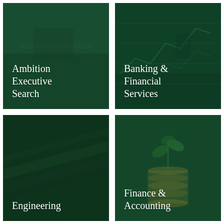[Figure (photo): Dark green tinted photo of a person at a desk, executive setting. Text overlay: Ambition Executive Search]
[Figure (photo): Dark green tinted photo of a person looking at financial charts on a screen. Text overlay: Banking & Financial Services]
[Figure (photo): Dark green tinted photo of engineering/industrial scene. Text overlay: Engineering]
[Figure (photo): Dark green tinted photo of a plant growing from coins. Text overlay: Finance & Accounting]